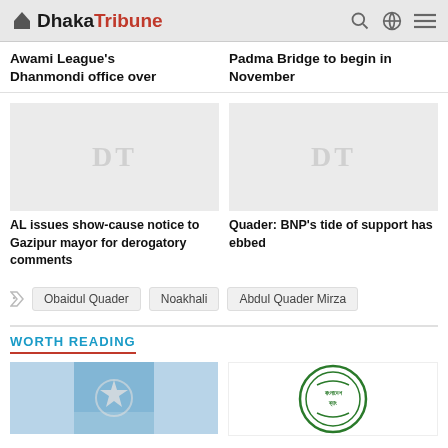Dhaka Tribune
Awami League's Dhanmondi office over
Padma Bridge to begin in November
[Figure (photo): Placeholder image with DT watermark - left article]
AL issues show-cause notice to Gazipur mayor for derogatory comments
[Figure (photo): Placeholder image with DT watermark - right article]
Quader: BNP's tide of support has ebbed
Obaidul Quader
Noakhali
Abdul Quader Mirza
WORTH READING
[Figure (photo): Bottom left image - star/moon symbol on blue background]
[Figure (photo): Bottom right image - Bangladesh Bank circular seal/logo]